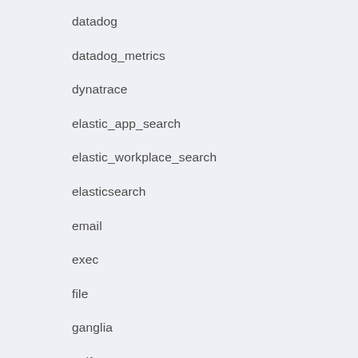datadog
datadog_metrics
dynatrace
elastic_app_search
elastic_workplace_search
elasticsearch
email
exec
file
ganglia
gelf
google_bigquery
google_cloud_storage